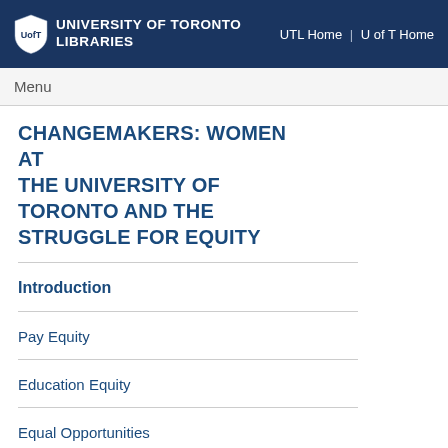UNIVERSITY OF TORONTO LIBRARIES | UTL Home | U of T Home
Menu
CHANGEMAKERS: WOMEN AT THE UNIVERSITY OF TORONTO AND THE STRUGGLE FOR EQUITY
Introduction
Pay Equity
Education Equity
Equal Opportunities
Access to Services